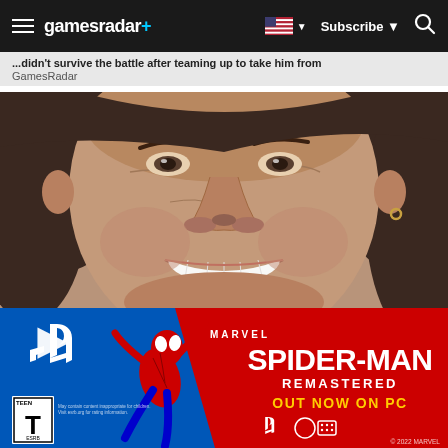gamesradar+ | Subscribe | Search
...didn't survive the battle after teaming up to take him from GamesRadar
[Figure (photo): Close-up photo of a smiling person with brown hair and earrings, white teeth, tanned weathered skin]
[Figure (infographic): Marvel's Spider-Man Remastered - Out Now on PC advertisement banner. Blue and red background with PlayStation logo, Spider-Man character, TEEN rating, and platform logos.]